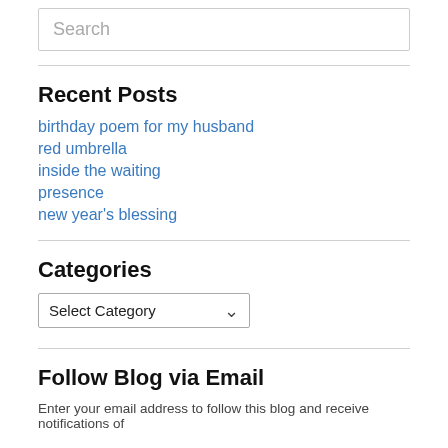Search
Recent Posts
birthday poem for my husband
red umbrella
inside the waiting
presence
new year's blessing
Categories
Select Category
Follow Blog via Email
Enter your email address to follow this blog and receive notifications of